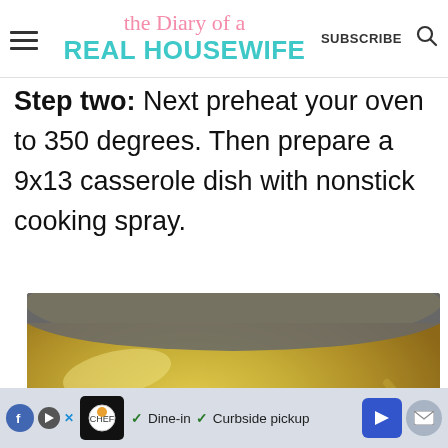the Diary of a Real Housewife — SUBSCRIBE
Step two: Next preheat your oven to 350 degrees. Then prepare a 9x13 casserole dish with nonstick cooking spray.
[Figure (photo): Food photo showing chicken pieces in a creamy yellow sauce inside a large stainless steel pot, viewed from above at an angle]
[Figure (other): Advertisement bar at bottom of page with social sharing icons and text: Dine-in, Curbside pickup]